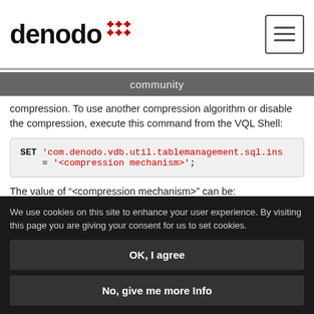denodo community
compression. To use another compression algorithm or disable the compression, execute this command from the VQL Shell:
The value of “<compression mechanism>” can be:
a. off (no compression)
We use cookies on this site to enhance your user experience. By visiting this page you are giving your consent for us to set cookies.
OK, I agree
No, give me more Info